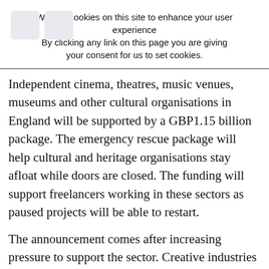We use cookies on this site to enhance your user experience By clicking any link on this page you are giving your consent for us to set cookies.
Independent cinema, theatres, music venues, museums and other cultural organisations in England will be supported by a GBP1.15 billion package. The emergency rescue package will help cultural and heritage organisations stay afloat while doors are closed. The funding will support freelancers working in these sectors as paused projects will be able to restart.
The announcement comes after increasing pressure to support the sector. Creative industries accounted for over two million UK jobs in 2018 and contributed nearly GBP111.7 to the UK economy. Creatives and